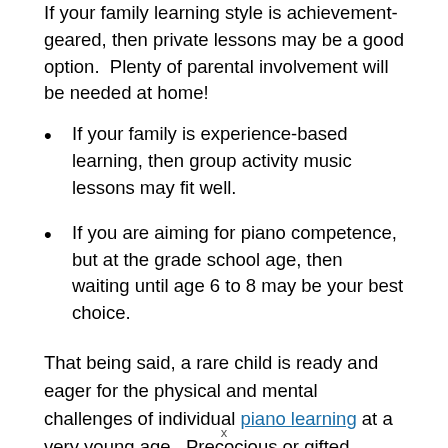If your family learning style is achievement-geared, then private lessons may be a good option. Plenty of parental involvement will be needed at home!
If your family is experience-based learning, then group activity music lessons may fit well.
If you are aiming for piano competence, but at the grade school age, then waiting until age 6 to 8 may be your best choice.
That being said, a rare child is ready and eager for the physical and mental challenges of individual piano learning at a very young age. Precocious or gifted children are rare, but not unheard of. After all, Mozart was composing complex piano and orchestral works by age 5! If private lessons are an option for your
x